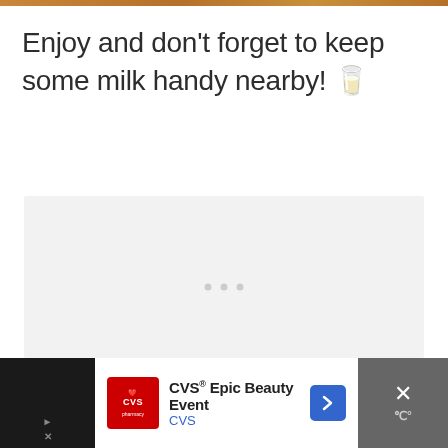[Figure (photo): Thin strip of food/baked goods image at top of page]
Enjoy and don't forget to keep some milk handy nearby! 🥛
[Figure (other): Light gray advertisement loading area with three gray dots in the center]
[Figure (other): CVS® Epic Beauty Event advertisement banner at the bottom with CVS pharmacy logo, navigation arrow, and close button]